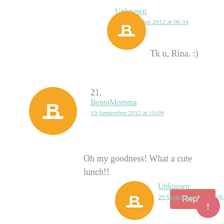[Figure (illustration): Orange circular Blogger avatar icon with white B symbol]
Unknown
20 September 2012 at 06:34
Tk u, Rina. :)
[Figure (illustration): Orange circular Blogger avatar icon with white B symbol]
21.
BentoMomma
19 September 2012 at 10:09
Oh my goodness! What a cute lunch!!
Reply
[Figure (illustration): Orange circular Blogger avatar icon with white B symbol]
Unknown
20 September 2012 at 06:35